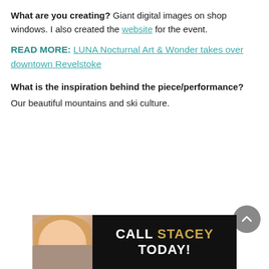What are you creating? Giant digital images on shop windows. I also created the website for the event.
READ MORE: LUNA Nocturnal Art & Wonder takes over downtown Revelstoke
What is the inspiration behind the piece/performance? Our beautiful mountains and ski culture.
[Figure (other): Back-to-top circular button with upward chevron arrow, grey background]
[Figure (other): Advertisement banner for 'CALL STACEY TODAY!' with photo of blonde woman on black background]